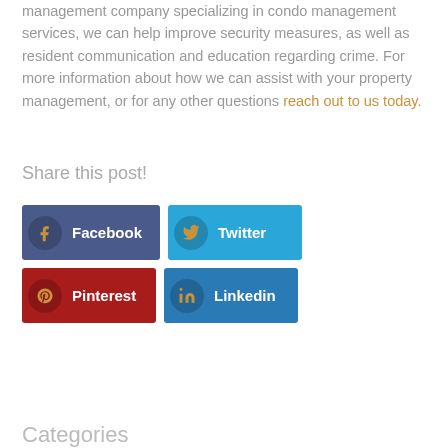management company specializing in condo management services, we can help improve security measures, as well as resident communication and education regarding crime. For more information about how we can assist with your property management, or for any other questions reach out to us today.
Share this post!
[Figure (other): Social share buttons for Facebook, Twitter, Pinterest, and LinkedIn]
Categories